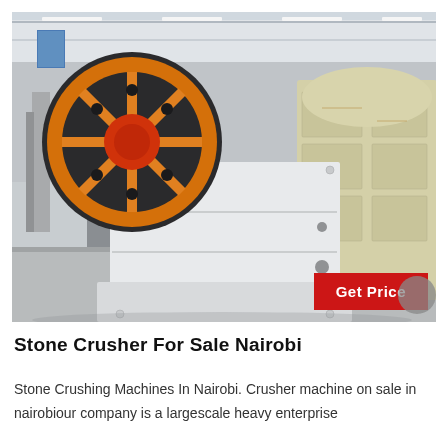[Figure (photo): Industrial stone crusher machines in a large warehouse factory setting. A large jaw crusher with orange flywheel is in the foreground on the left, and a yellow impact crusher is visible in the background on the right. The facility has a grey concrete floor and steel-frame roof structure.]
Stone Crusher For Sale Nairobi
Stone Crushing Machines In Nairobi. Crusher machine on sale in nairobiour company is a largescale heavy enterprise